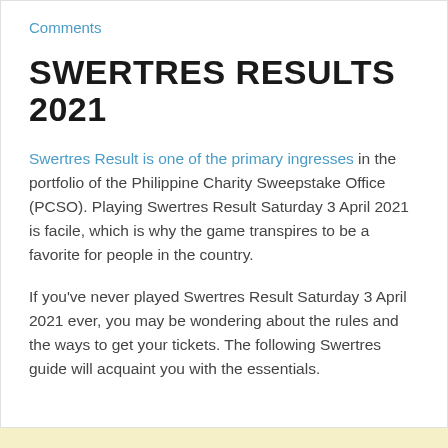Comments
SWERTRES RESULTS 2021
Swertres Result is one of the primary ingresses in the portfolio of the Philippine Charity Sweepstake Office (PCSO). Playing Swertres Result Saturday 3 April 2021 is facile, which is why the game transpires to be a favorite for people in the country.
If you've never played Swertres Result Saturday 3 April 2021 ever, you may be wondering about the rules and the ways to get your tickets. The following Swertres guide will acquaint you with the essentials.